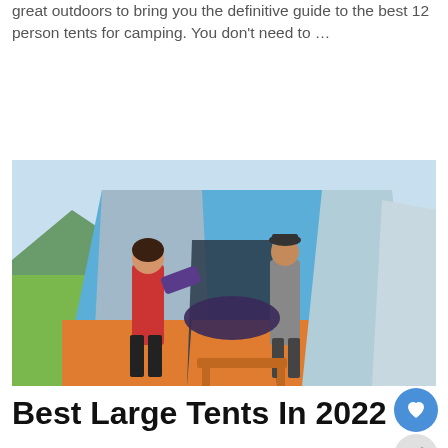great outdoors to bring you the definitive guide to the best 12 person tents for camping. You don't need to …
Read more
[Figure (photo): Two people setting up a large blue and orange camping tent outdoors with mountains in the background]
Best Large Tents In 2022 – Top Camping Tent For Family Or Groups